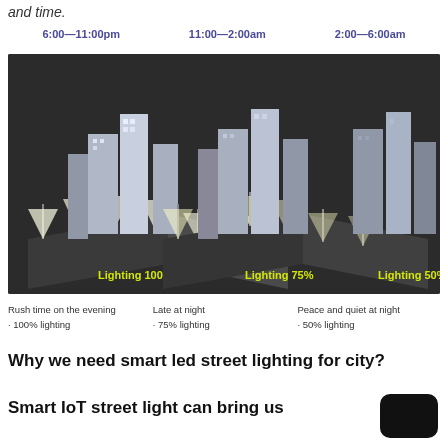and time.
[Figure (infographic): Three isometric city street scenes showing smart LED street lighting at different times: 6:00-11:00pm at Lighting 100%, 11:00-2:00am at Lighting 75%, and 2:00-6:00am at Lighting 50%. Buildings and street lights shown with corresponding brightness levels on a dark background.]
Rush time on the evening · 100% lighting
Late at night · 75% lighting
Peace and quiet at night · 50% lighting
Why we need smart led street lighting for city?
Smart IoT street light can bring us